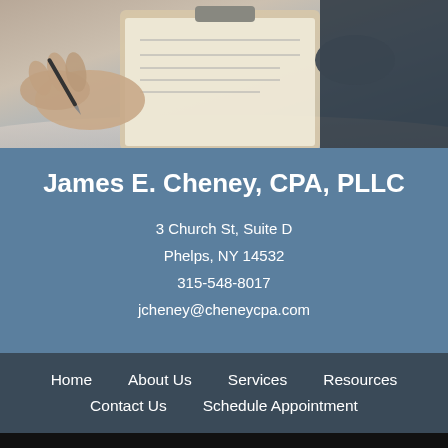[Figure (photo): Two people reviewing documents on a clipboard, hands visible, office setting with papers on a desk]
James E. Cheney, CPA, PLLC
3 Church St, Suite D
Phelps, NY 14532
315-548-8017
jcheney@cheneycpa.com
Home
About Us
Services
Resources
Contact Us
Schedule Appointment
Copyright © 2018 James E. Cheney, CPA, PLLC
Terms of Service | Privacy Policy